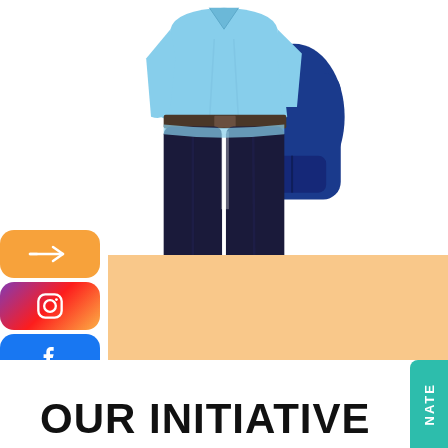[Figure (photo): A student wearing a light blue school uniform shirt and dark navy trousers, carrying a blue backpack with a teal strap, photographed from the torso down against a white background.]
OUR INITIATIVE